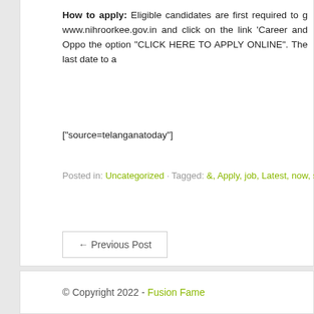How to apply: Eligible candidates are first required to g www.nihroorkee.gov.in and click on the link 'Career and Oppo the option "CLICK HERE TO APPLY ONLINE". The last date to a
["source=telanganatoday"]
Posted in: Uncategorized · Tagged: &, Apply, job, Latest, now, scho
← Previous Post
© Copyright 2022 - Fusion Fame